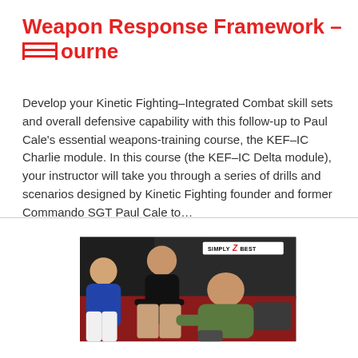Weapon Response Framework – Melbourne
Develop your Kinetic Fighting–Integrated Combat skill sets and overall defensive capability with this follow-up to Paul Cale's essential weapons-training course, the KEF–IC Charlie module. In this course (the KEF–IC Delta module), your instructor will take you through a series of drills and scenarios designed by Kinetic Fighting founder and former Commando SGT Paul Cale to…
[Figure (photo): Photo of three men in a martial arts gym with dark padded walls and a red mat floor. A watermark reading 'SIMPLY Z BEST' appears in the top right of the image.]